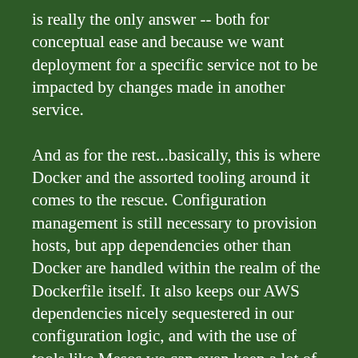is really the only answer -- both for conceptual ease and because we want deployment for a specific service not to be impacted by changes made in another service.
And as for the rest...basically, this is where Docker and the assorted tooling around it comes to the rescue. Configuration management is still necessary to provision hosts, but app dependencies other than Docker are handled within the realm of the Dockerfile itself. It also keeps our AWS dependencies nicely sequestered in our configuration logic, and with the use of tools like Mesos we can even keep a lot of our scaling logic from knowing about the specifics of the underlying infrastructure provider. Not to mention that we can combine this with tools like Fig to quite painlessly run integration tests across the whole portfolio of services, as well as being able to develop against an environment that matches production much more closely than what is easily achievable with VM-oriented development.